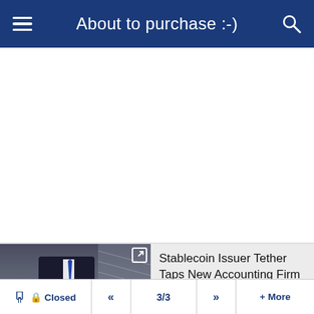About to purchase :-)
[Figure (photo): Screenshot of a mobile finance news app showing a news article. The header bar is dark blue with hamburger menu icon, title 'About to purchase :-)', and search icon. Below is a white content area. At bottom is a news card with a photo of a man in a suit and tie, with the headline 'Stablecoin Issuer Tether Taps New Accounting Firm'. A bottom navigation bar shows: Closed, «, 3/3, », + More.]
Stablecoin Issuer Tether Taps New Accounting Firm
Closed  «  3/3  »  + More